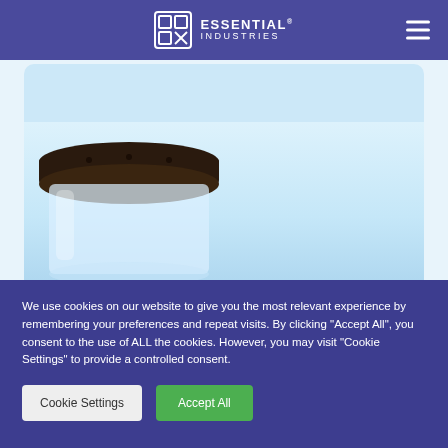[Figure (logo): Essential Industries logo with icon and text on purple navigation bar]
[Figure (photo): Glass jar with dark brown lid on light blue background, partial product photo]
We use cookies on our website to give you the most relevant experience by remembering your preferences and repeat visits. By clicking “Accept All”, you consent to the use of ALL the cookies. However, you may visit "Cookie Settings" to provide a controlled consent.
Cookie Settings
Accept All